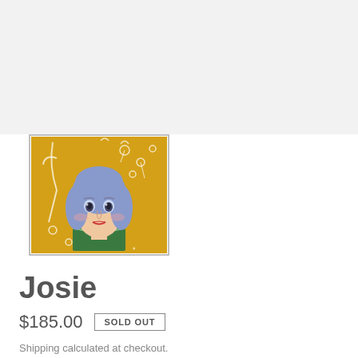[Figure (photo): Large light gray placeholder/image area at top of page]
[Figure (illustration): Thumbnail painting of a girl with blue hair on a golden-yellow background with floral motifs, wearing a green top, inside a thin gray border frame]
Josie
$185.00
SOLD OUT
Shipping calculated at checkout.